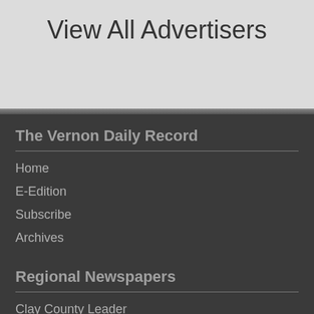View All Advertisers
The Vernon Daily Record
Home
E-Edition
Subscribe
Archives
Regional Newspapers
Clay County Leader
Burkburnett Informer Star